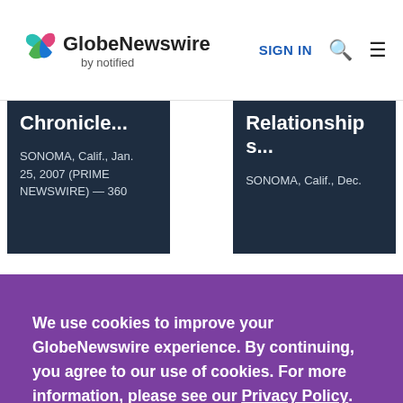GlobeNewswire by notified — SIGN IN
[Figure (screenshot): Partially visible news article cards with dark navy background showing headlines 'Chronicle...' and 'Relationships...' with datelines 'SONOMA, Calif., Jan. 25, 2007 (PRIME NEWSWIRE)' and 'SONOMA, Calif., Dec.']
We use cookies to improve your GlobeNewswire experience. By continuing, you agree to our use of cookies. For more information, please see our Privacy Policy.
ACCEPT